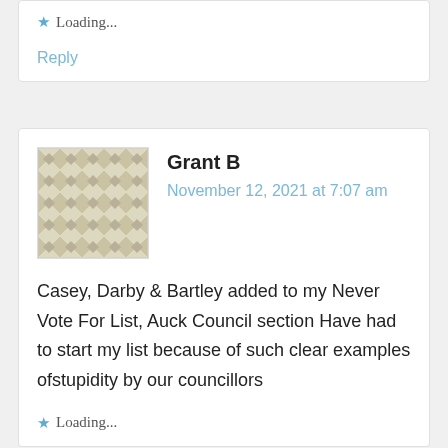Loading...
Reply
Grant B
November 12, 2021 at 7:07 am
Casey, Darby & Bartley added to my Never Vote For List, Auck Council section Have had to start my list because of such clear examples ofstupidity by our councillors
Loading...